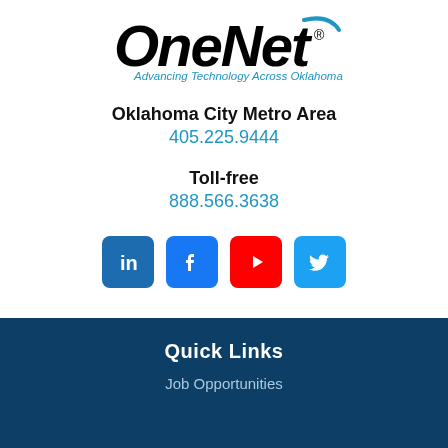[Figure (logo): OneNet logo with tagline 'Advancing Technology Across Oklahoma']
Oklahoma City Metro Area
405.225.9444
Toll-free
888.566.3638
[Figure (illustration): Social media icons: LinkedIn, Facebook, YouTube, Twitter]
Quick Links
Job Opportunities